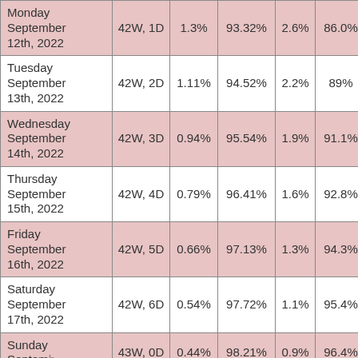| Date | Gestational Age | Col3 | Col4 | Col5 | Col6 | Col7 |
| --- | --- | --- | --- | --- | --- | --- |
| Monday September 12th, 2022 | 42W, 1D | 1.3% | 93.32% | 2.6% | 86.0% |  |
| Tuesday September 13th, 2022 | 42W, 2D | 1.11% | 94.52% | 2.2% | 89% |  |
| Wednesday September 14th, 2022 | 42W, 3D | 0.94% | 95.54% | 1.9% | 91.1% |  |
| Thursday September 15th, 2022 | 42W, 4D | 0.79% | 96.41% | 1.6% | 92.8% |  |
| Friday September 16th, 2022 | 42W, 5D | 0.66% | 97.13% | 1.3% | 94.3% |  |
| Saturday September 17th, 2022 | 42W, 6D | 0.54% | 97.72% | 1.1% | 95.4% |  |
| Sunday September... | 43W, 0D | 0.44% | 98.21% | 0.9% | 96.4% |  |